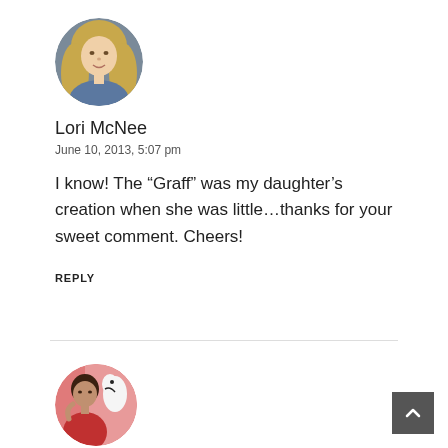[Figure (photo): Circular avatar photo of Lori McNee, a woman with long blonde hair wearing a blue denim top, against a gray background]
Lori McNee
June 10, 2013, 5:07 pm
I know! The “Graff” was my daughter’s creation when she was little…thanks for your sweet comment. Cheers!
REPLY
[Figure (photo): Circular avatar photo of Rita Koolstra, a woman in a red top, against a pink background with a painted bird/animal artwork visible]
Rita Koolstra